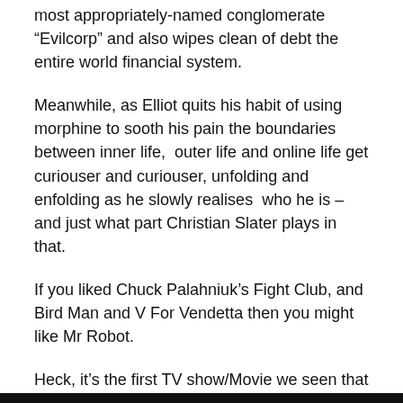most appropriately-named conglomerate “Evilcorp” and also wipes clean of debt the entire world financial system.
Meanwhile, as Elliot quits his habit of using morphine to sooth his pain the boundaries between inner life,  outer life and online life get curiouser and curiouser, unfolding and enfolding as he slowly realises  who he is – and just what part Christian Slater plays in that.
If you liked Chuck Palahniuk’s Fight Club, and Bird Man and V For Vendetta then you might like Mr Robot.
Heck, it’s the first TV show/Movie we seen that managed to make watching people typing code at a keyboard look. like, not completely boring.